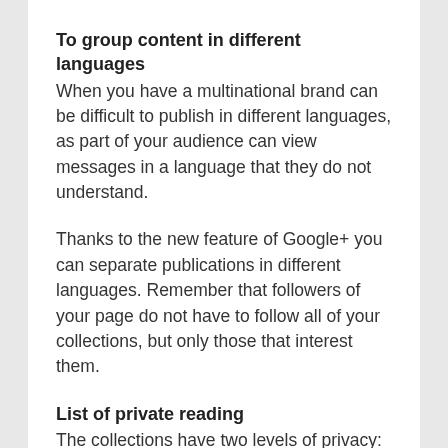To group content in different languages
When you have a multinational brand can be difficult to publish in different languages, as part of your audience can view messages in a language that they do not understand.
Thanks to the new feature of Google+ you can separate publications in different languages. Remember that followers of your page do not have to follow all of your collections, but only those that interest them.
List of private reading
The collections have two levels of privacy: public or private. So far we have seen many public collections options but there is also the possibility of grouping content that does not want anyone else to see, for